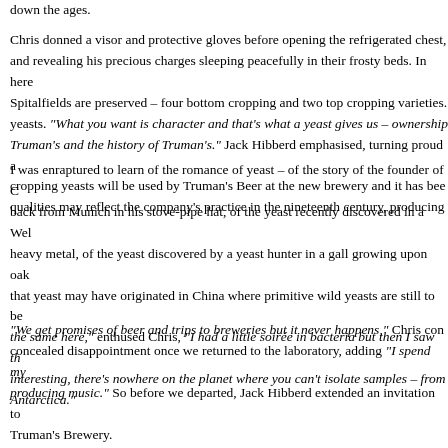down the ages.
Chris donned a visor and protective gloves before opening the refrigerated chest, and revealing his precious charges sleeping peacefully in their frosty beds. In here Spitalfields are preserved – four bottom cropping and two top cropping varieties. yeasts. "What you want is character and that's what a yeast gives us – ownership Truman's and the history of Truman's." Jack Hibberd emphasised, turning proud a cropping yeasts will be used by Truman's Beer at the new brewery and it has bee qualities may reflect the company's practice in the nineteenth century, producing
I was enraptured to learn of the romance of yeast – of the story of the founder of C back from Munich in his stove-pipe hat, of the yeast recently discovered in a Wel heavy metal, of the yeast discovered by a yeast hunter in a gall growing upon oak that yeast may have originated in China where primitive wild yeasts are still to be the same here," enthused Chris, "I had a little soirée in bacteria but then I saw th interesting, there's nowhere on the planet where you can't isolate samples – from Antarctica."
"We get promises of beer and trips to breweries but it never happens," Chris con concealed disappointment once we returned to the laboratory, adding "I spend my producing music." So before we departed, Jack Hibberd extended an invitation to Truman's Brewery.